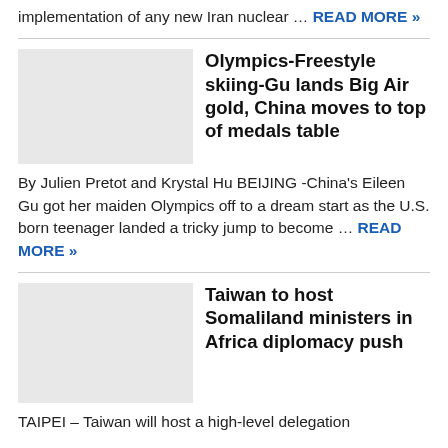implementation of any new Iran nuclear … READ MORE »
Olympics-Freestyle skiing-Gu lands Big Air gold, China moves to top of medals table
[Figure (photo): Thumbnail placeholder image for Olympics article]
By Julien Pretot and Krystal Hu BEIJING -China's Eileen Gu got her maiden Olympics off to a dream start as the U.S. born teenager landed a tricky jump to become … READ MORE »
Taiwan to host Somaliland ministers in Africa diplomacy push
[Figure (photo): Thumbnail placeholder image for Taiwan article]
TAIPEI – Taiwan will host a high-level delegation